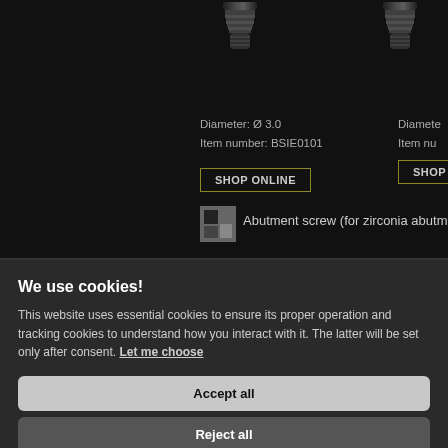[Figure (photo): Dark screw/implant component image (left), partially visible]
[Figure (photo): Dark screw/implant component image (right), partially visible]
Diameter: Ø 3.0
Item number: BSIE0101
SHOP ONLINE
Diameter:
Item nu
SHOP
[Figure (logo): Small square icon with dark/grey blocks]
Abutment screw (for zirconia abutme
We use cookies!
This website uses essential cookies to ensure its proper operation and tracking cookies to understand how you interact with it. The latter will be set only after consent. Let me choose
Accept all
Reject all